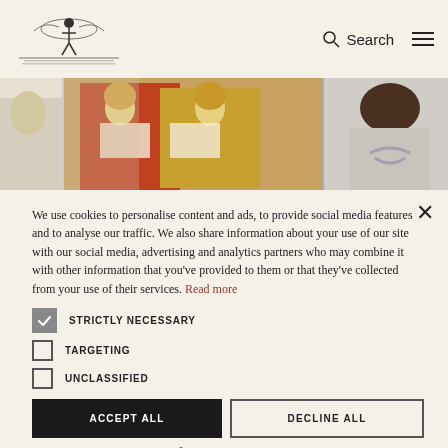Search navigation header with logo
[Figure (photo): Partial photo strip showing people painting/writing at a table, colorful artwork visible]
We use cookies to personalise content and ads, to provide social media features and to analyse our traffic. We also share information about your use of our site with our social media, advertising and analytics partners who may combine it with other information that you've provided to them or that they've collected from your use of their services. Read more
STRICTLY NECESSARY
TARGETING
UNCLASSIFIED
ACCEPT ALL
DECLINE ALL
SHOW DETAILS